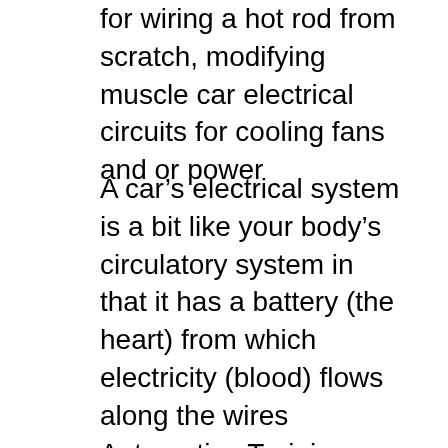for wiring a hot rod from scratch, modifying muscle car electrical circuits for cooling fans and or power
A car’s electrical system is a bit like your body’s circulatory system in that it has a battery (the heart) from which electricity (blood) flows along the wires Automotive Training Equipment Manufacturer, Automotive Education Equipment, Automotive Electrical & Auxiliary System; Automotive Detection System;
Eaton's Electrical Engineering Services and Systems; Electrical. Support. Training. 101 Basics Series. 101 Basics Series. The 101 Basics Series provides a